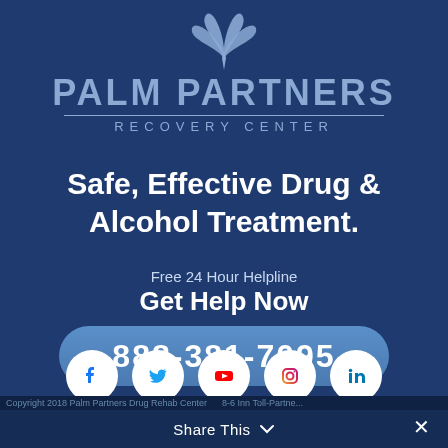[Figure (logo): Palm Partners Recovery Center logo with palm tree icon and blue text on dark blue background]
Safe, Effective Drug & Alcohol Treatment.
Free 24 Hour Helpline
Get Help Now
888-381-7095
Who Answers?
[Figure (infographic): Social media icons: Facebook, Twitter, YouTube, Instagram, LinkedIn]
Share This
Copyright 2018 Palm Partners Drug Rehab Center